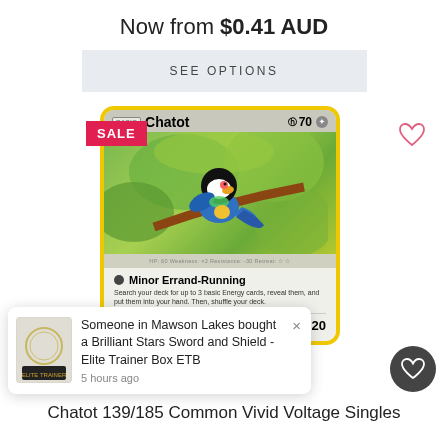Now from $0.41 AUD
SEE OPTIONS
[Figure (illustration): Pokemon trading card for Chatot 139/185 Common Vivid Voltage. Card shows Chatot bird with yellow border, HP 70, moves: Minor Errand-Running and Peck 20. Has SALE badge overlay.]
Someone in Mawson Lakes bought a Brilliant Stars Sword and Shield - Elite Trainer Box ETB
5 hours ago
Chatot 139/185 Common Vivid Voltage Singles